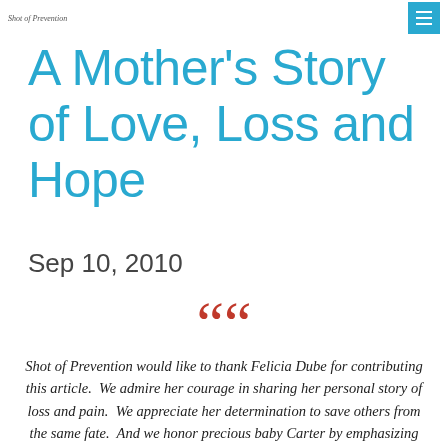Shot of Prevention
A Mother's Story of Love, Loss and Hope
Sep 10, 2010
““
Shot of Prevention would like to thank Felicia Dube for contributing this article.  We admire her courage in sharing her personal story of loss and pain.  We appreciate her determination to save others from the same fate.  And we honor precious baby Carter by emphasizing the importance of lifelong vaccination